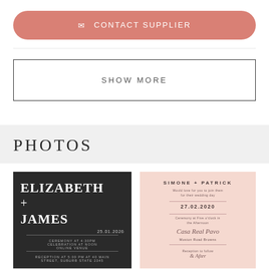✉ CONTACT SUPPLIER
SHOW MORE
PHOTOS
[Figure (photo): Wedding invitation card on dark background with 'ELIZABETH + JAMES' in large white serif font, with date and venue details below]
[Figure (photo): Wedding invitation card on pink/blush background with 'SIMONE + PATRICK' text and wedding details in elegant typography]